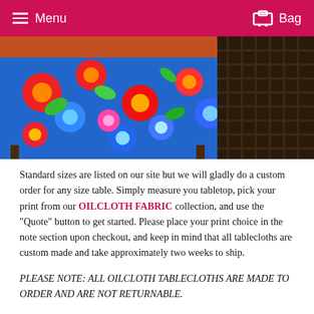Menu   Bag
[Figure (photo): Colorful floral oilcloth tablecloth with bright red, blue, orange, and green flowers draped over a table, with wicker furniture visible in the background.]
Standard sizes are listed on our site but we will gladly do a custom order for any size table. Simply measure you tabletop, pick your print from our OILCLOTH FABRIC collection, and use the "Quote" button to get started. Please place your print choice in the note section upon checkout, and keep in mind that all tablecloths are custom made and take approximately two weeks to ship.
PLEASE NOTE: ALL OILCLOTH TABLECLOTHS ARE MADE TO ORDER AND ARE NOT RETURNABLE.
For additional tablecloth information please visit this link.